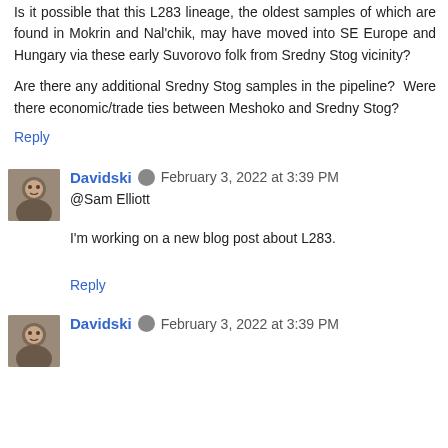Is it possible that this L283 lineage, the oldest samples of which are found in Mokrin and Nal'chik, may have moved into SE Europe and Hungary via these early Suvorovo folk from Sredny Stog vicinity?
Are there any additional Sredny Stog samples in the pipeline? Were there economic/trade ties between Meshoko and Sredny Stog?
Reply
Davidski  February 3, 2022 at 3:39 PM
@Sam Elliott
I'm working on a new blog post about L283.
Reply
Davidski  February 3, 2022 at 3:39 PM